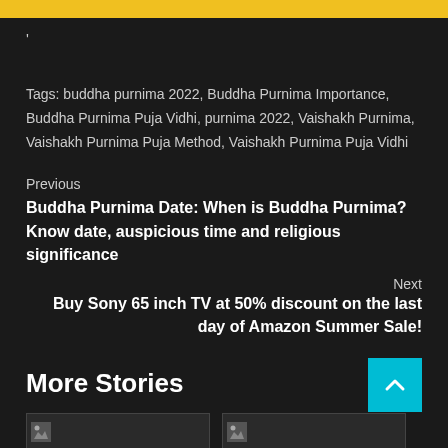'
Tags: buddha purnima 2022, Buddha Purnima Importance, Buddha Purnima Puja Vidhi, purnima 2022, Vaishakh Purnima, Vaishakh Purnima Puja Method, Vaishakh Purnima Puja Vidhi
Previous
Buddha Purnima Date: When is Buddha Purnima? Know date, auspicious time and religious significance
Next
Buy Sony 65 inch TV at 50% discount on the last day of Amazon Summer Sale!
More Stories
[Figure (photo): Thumbnail image placeholder left]
[Figure (photo): Thumbnail image placeholder right]